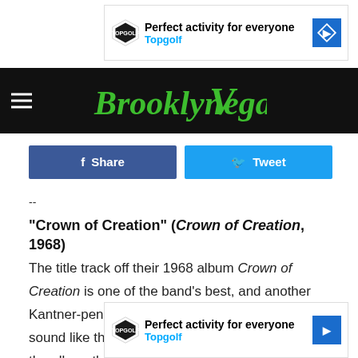[Figure (screenshot): Topgolf advertisement banner at top: 'Perfect activity for everyone / Topgolf' with logo and blue arrow icon]
BrooklynVegan
[Figure (infographic): Facebook Share button (dark blue) and Twitter Tweet button (light blue)]
--
"Crown of Creation" (Crown of Creation, 1968)
The title track off their 1968 album Crown of Creation is one of the band's best, and another Kantner-penned tune where he and Grace Slick sound like they're on the top of the world. This is the album the Airplane got the darkest, and this song is no exception. The chord progressions veer away from standard rock into more experimental territory. Jarm Kauko... eady
[Figure (screenshot): Topgolf advertisement banner at bottom: 'Perfect activity for everyone / Topgolf' with logo and blue arrow icon]